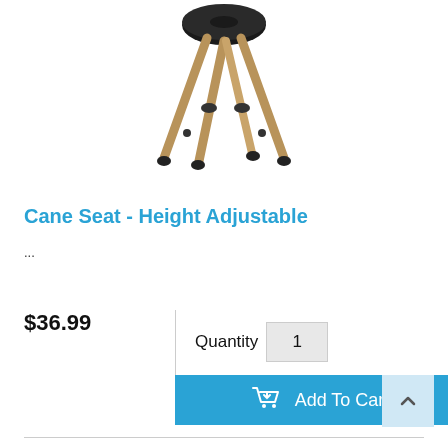[Figure (photo): A height-adjustable cane seat stool with a round black seat and four crossed metallic bronze/gold legs with black rubber feet tips.]
Cane Seat - Height Adjustable
...
$36.99
Quantity 1
Add To Cart